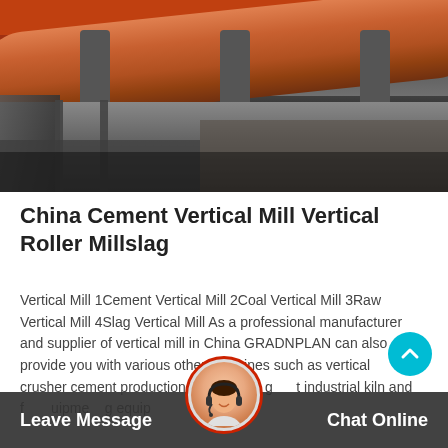[Figure (photo): Industrial rotary kiln / cement mill equipment photograph, showing a large cylindrical orange/brown metal drum elevated on a concrete structure, industrial facility background.]
China Cement Vertical Mill Vertical Roller Millslag
Vertical Mill 1Cement Vertical Mill 2Coal Vertical Mill 3Raw Vertical Mill 4Slag Vertical Mill As a professional manufacturer and supplier of vertical mill in China GRADNPLAN can also provide you with various other machines such as vertical jaw crusher cement production line cement g t industrial kiln and f equipment g equip environmental
Leave Message   Chat Online